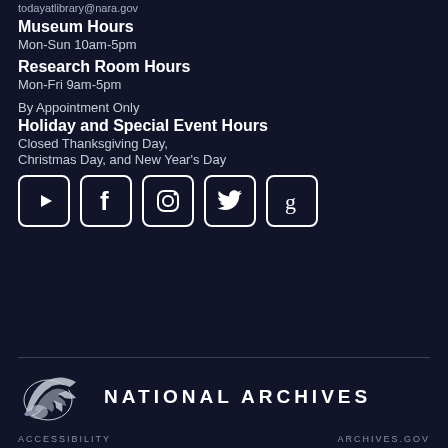todayatlibrary@nara.gov
Museum Hours
Mon-Sun 10am-5pm
Research Room Hours
Mon-Fri 9am-5pm
By Appointment Only
Holiday and Special Event Hours
Closed Thanksgiving Day,
Christmas Day, and New Year's Day
[Figure (infographic): Social media icons: YouTube, Facebook, Instagram, Twitter, Goodreads]
[Figure (logo): National Archives logo with eagle and text NATIONAL ARCHIVES]
ACCESSIBILITY    ARCHIVES.GOV